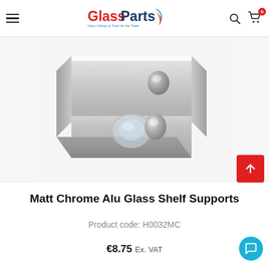GlassParts - Glass Fittings & Tools for the Trade
[Figure (photo): Close-up product photo of Matt Chrome Alu Glass Shelf Support — a square chrome/aluminium plate bracket with a small clear glass disc insert, highly polished mirror finish, on white background.]
Matt Chrome Alu Glass Shelf Supports
Product code: H0032MC
€8.75 Ex. VAT